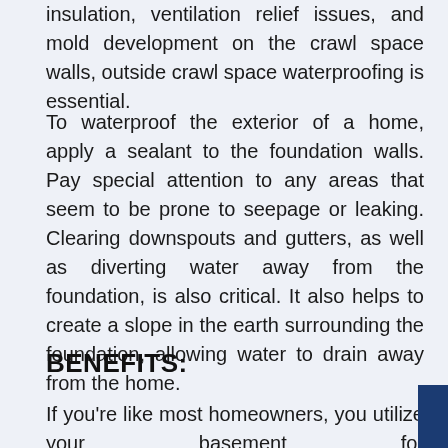insulation, ventilation relief issues, and mold development on the crawl space walls, outside crawl space waterproofing is essential.
To waterproof the exterior of a home, apply a sealant to the foundation walls. Pay special attention to any areas that seem to be prone to seepage or leaking. Clearing downspouts and gutters, as well as diverting water away from the foundation, is also critical. It also helps to create a slope in the earth surrounding the foundation, allowing water to drain away from the home.
BENEFITS:
If you're like most homeowners, you utilize your basement for storage. This strategy is recom... prefer to have work done outdoors rather than inside their house. Because everything takes place
[Figure (other): Dark blue call-to-action button with phone icon and text 'CALL US TODAY']